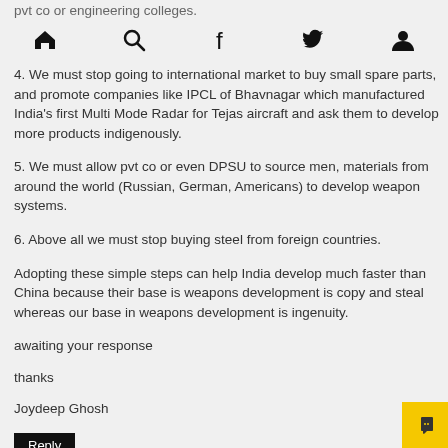pvt co or engineering colleges.
navigation icons: home, search, facebook, twitter, user
4. We must stop going to international market to buy small spare parts, and promote companies like IPCL of Bhavnagar which manufactured India's first Multi Mode Radar for Tejas aircraft and ask them to develop more products indigenously.
5. We must allow pvt co or even DPSU to source men, materials from around the world (Russian, German, Americans) to develop weapon systems.
6. Above all we must stop buying steel from foreign countries.
Adopting these simple steps can help India develop much faster than China because their base is weapons development is copy and steal whereas our base in weapons development is ingenuity.
awaiting your response
thanks
Joydeep Ghosh